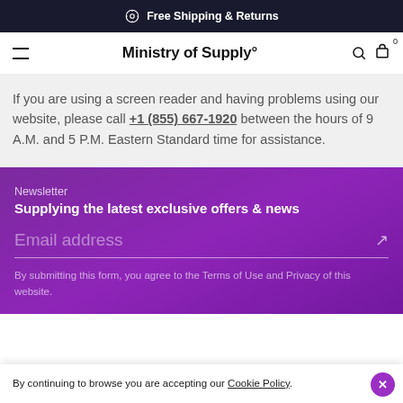Free Shipping & Returns
Ministry of Supply°
If you are using a screen reader and having problems using our website, please call +1 (855) 667-1920 between the hours of 9 A.M. and 5 P.M. Eastern Standard time for assistance.
Newsletter
Supplying the latest exclusive offers & news
Email address
By submitting this form, you agree to the Terms of Use and Privacy of this website.
By continuing to browse you are accepting our Cookie Policy.